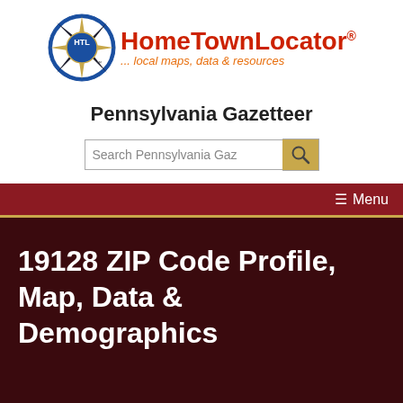[Figure (logo): HomeTownLocator logo with HTL compass badge and brand name with tagline '... local maps, data & resources']
Pennsylvania Gazetteer
[Figure (other): Search box with text 'Search Pennsylvania Gaz' and orange search button with magnifying glass icon]
☰ Menu
19128 ZIP Code Profile, Map, Data & Demographics